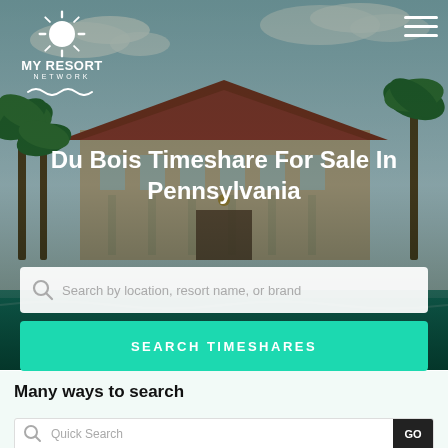[Figure (photo): Hero background photo of a tropical resort with palm trees, a pool, and a large building with red roof under a partly cloudy sky]
MY RESORT NETWORK
Du Bois Timeshare For Sale In Pennsylvania
Search by location, resort name, or brand
SEARCH TIMESHARES
Many ways to search
Quick Search